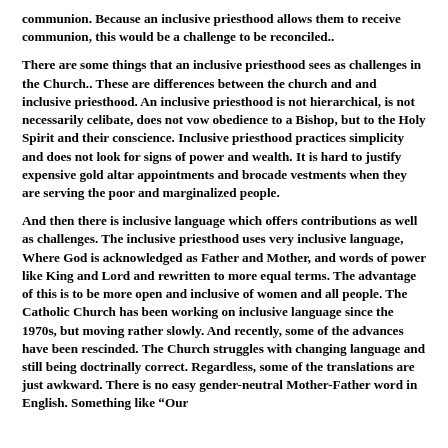communion. Because an inclusive priesthood allows them to receive communion, this would be a challenge to be reconciled..
There are some things that an inclusive priesthood sees as challenges in the Church.. These are differences between the church and and inclusive priesthood. An inclusive priesthood is not hierarchical, is not necessarily celibate, does not vow obedience to a Bishop, but to the Holy Spirit and their conscience. Inclusive priesthood practices simplicity and does not look for signs of power and wealth. It is hard to justify expensive gold altar appointments and brocade vestments when they are serving the poor and marginalized people.
And then there is inclusive language which offers contributions as well as challenges. The inclusive priesthood uses very inclusive language, Where God is acknowledged as Father and Mother, and words of power like King and Lord and rewritten to more equal terms. The advantage of this is to be more open and inclusive of women and all people. The Catholic Church has been working on inclusive language since the 1970s, but moving rather slowly. And recently, some of the advances have been rescinded. The Church struggles with changing language and still being doctrinally correct. Regardless, some of the translations are just awkward. There is no easy gender-neutral Mother-Father word in English. Something like “Our